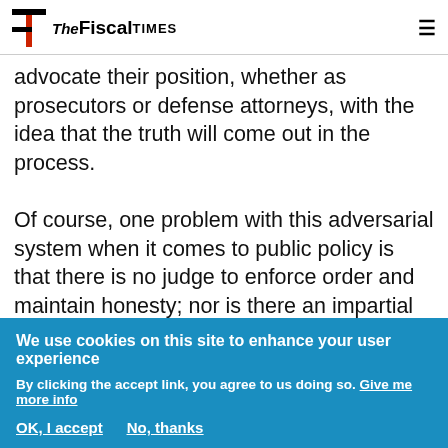THE Fiscal TIMES
advocate their position, whether as prosecutors or defense attorneys, with the idea that the truth will come out in the process.

Of course, one problem with this adversarial system when it comes to public policy is that there is no judge to enforce order and maintain honesty; nor is there an impartial group of citizens willing to take the time and effort to study the evidence, carefully listen to the arguments, and render a fair judgment. The closest we come in the policy arena is a media
We use cookies on this site to enhance your user experience
By clicking the accept link, you agree to us doing so. Give me more info
OK, I accept    No, thanks